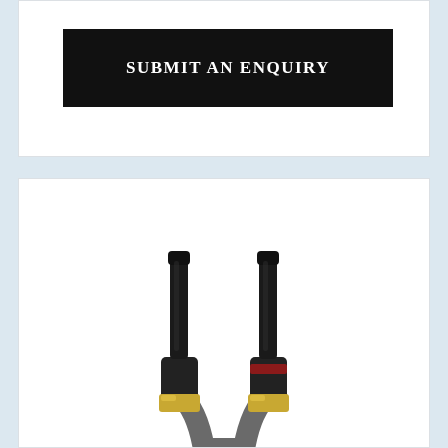SUBMIT AN ENQUIRY
[Figure (photo): Two audio/speaker cable connectors with black housings, gold-colored collars, and one connector with a red band, joined at the bottom into a single flat grey cable]